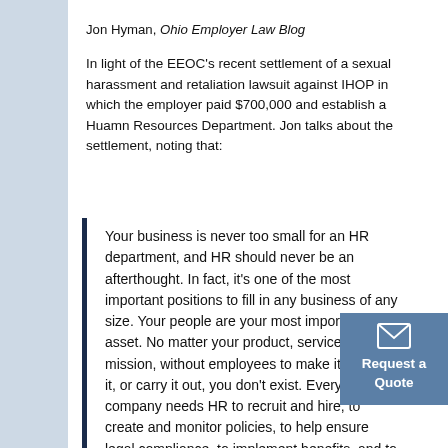Jon Hyman, Ohio Employer Law Blog
In light of the EEOC's recent settlement of a sexual harassment and retaliation lawsuit against IHOP in which the employer paid $700,000 and establish a Huamn Resources Department. Jon talks about the settlement, noting that:
Your business is never too small for an HR department, and HR should never be an afterthought. In fact, it's one of the most important positions to fill in any business of any size. Your people are your most important asset. No matter your product, service, or mission, without employees to make it, provide it, or carry it out, you don't exist. Every company needs HR to recruit and hire, to create and monitor policies, to help ensure legal compliance, to implement benefits, and to strategize. Size may vary, but without any dedicated HR
[Figure (infographic): Request a Quote button with envelope icon, blue background]